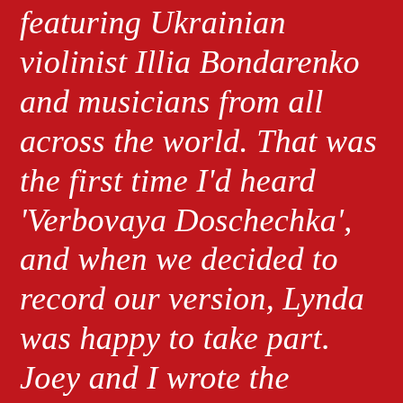featuring Ukrainian violinist Illia Bondarenko and musicians from all across the world. That was the first time I'd heard 'Verbovaya Doschechka', and when we decided to record our version, Lynda was happy to take part. Joey and I wrote the English lyrics for 'Lament for Ukraine' and the second verse,